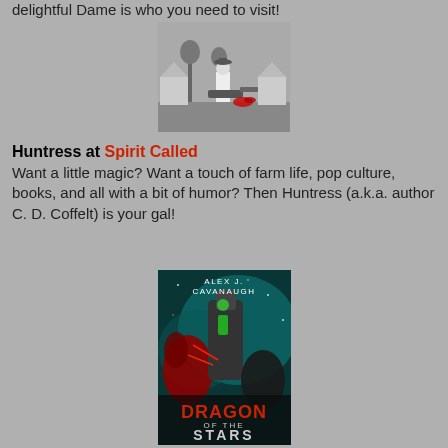delightful Dame is who you need to visit!
[Figure (photo): Black and white photo of a woman in a white dress and hat holding a chainsaw outdoors in a neighborhood setting]
Huntress at Spirit Called
Want a little magic? Want a touch of farm life, pop culture, books, and all with a bit of humor? Then Huntress (a.k.a. author C. D. Coffelt) is your gal!
[Figure (photo): Book cover for 'Dragon of the Stars' by Alex J. Cavanaugh featuring a sci-fi dragon and space background]